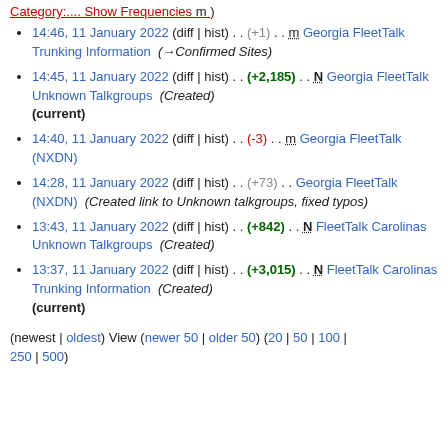Category:... Show Frequencies m)
14:46, 11 January 2022 (diff | hist) . . (+1) . . m Georgia FleetTalk Trunking Information (→Confirmed Sites)
14:45, 11 January 2022 (diff | hist) . . (+2,185) . . N Georgia FleetTalk Unknown Talkgroups (Created) (current)
14:40, 11 January 2022 (diff | hist) . . (-3) . . m Georgia FleetTalk (NXDN)
14:28, 11 January 2022 (diff | hist) . . (+73) . . Georgia FleetTalk (NXDN) (Created link to Unknown talkgroups, fixed typos)
13:43, 11 January 2022 (diff | hist) . . (+842) . . N FleetTalk Carolinas Unknown Talkgroups (Created)
13:37, 11 January 2022 (diff | hist) . . (+3,015) . . N FleetTalk Carolinas Trunking Information (Created) (current)
(newest | oldest) View (newer 50 | older 50) (20 | 50 | 100 | 250 | 500)